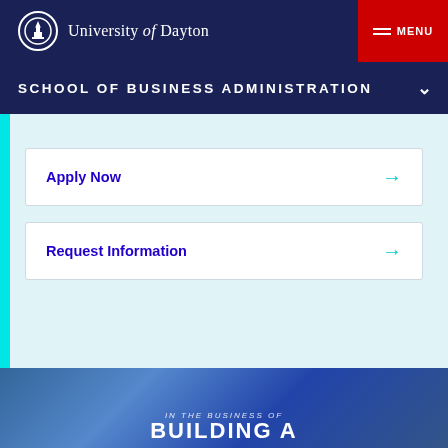University of Dayton
SCHOOL OF BUSINESS ADMINISTRATION
Apply Now →
Request Information →
[Figure (photo): Students inside a building with a large blue banner reading 'IN THE BUSINESS OF BUILDING A']